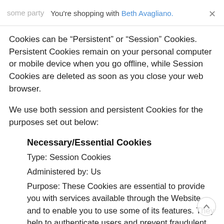You're shopping with Beth Avagliano.
Cookies can be “Persistent” or “Session” Cookies. Persistent Cookies remain on your personal computer or mobile device when you go offline, while Session Cookies are deleted as soon as you close your web browser.
We use both session and persistent Cookies for the purposes set out below:
Necessary/Essential Cookies
Type: Session Cookies
Administered by: Us
Purpose: These Cookies are essential to provide you with services available through the Website and to enable you to use some of its features. They help to authenticate users and prevent fraudulent use of user accounts. Without these Cookies, the services that you have asked for